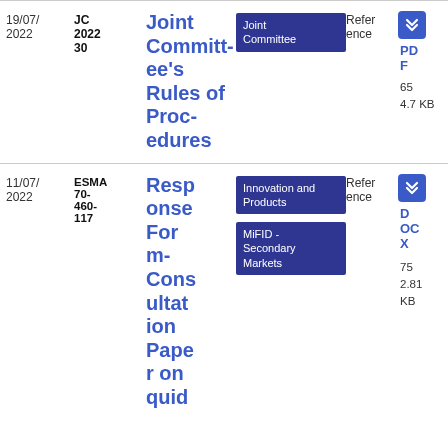| Date | Reference | Title | Topics | Type | Download |
| --- | --- | --- | --- | --- | --- |
| 19/07/2022 | JC 2022 30 | Joint Committee's Rules of Procedures | Joint Committee | Reference | PDF
65
4.7 KB |
| 11/07/2022 | ESMA 70-460-117 | Response Form- Consultation Paper on guid | Innovation and Products
MiFID - Secondary Markets | Reference | DOCX
75
2.81 KB |